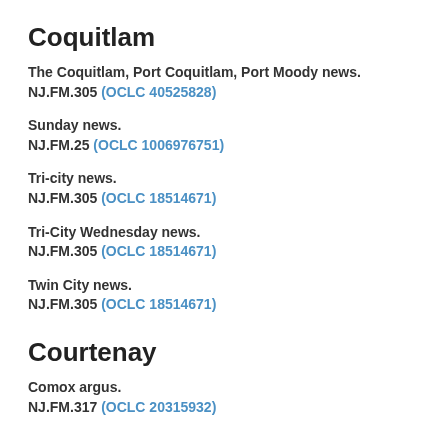Coquitlam
The Coquitlam, Port Coquitlam, Port Moody news.
NJ.FM.305 (OCLC 40525828)
Sunday news.
NJ.FM.25 (OCLC 1006976751)
Tri-city news.
NJ.FM.305 (OCLC 18514671)
Tri-City Wednesday news.
NJ.FM.305 (OCLC 18514671)
Twin City news.
NJ.FM.305 (OCLC 18514671)
Courtenay
Comox argus.
NJ.FM.317 (OCLC 20315932)